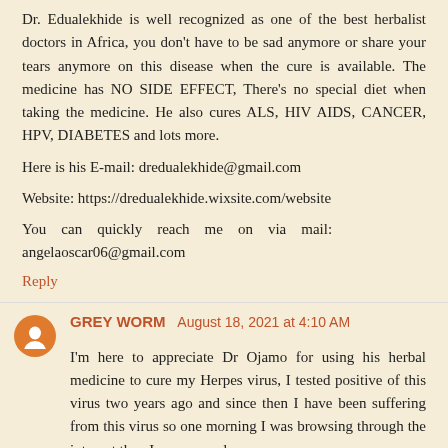Dr. Edualekhide is well recognized as one of the best herbalist doctors in Africa, you don't have to be sad anymore or share your tears anymore on this disease when the cure is available. The medicine has NO SIDE EFFECT, There's no special diet when taking the medicine. He also cures ALS, HIV AIDS, CANCER, HPV, DIABETES and lots more.
Here is his E-mail: dredualekhide@gmail.com
Website: https://dredualekhide.wixsite.com/website
You can quickly reach me on via mail: angelaoscar06@gmail.com
Reply
GREY WORM  August 18, 2021 at 4:10 AM
I'm here to appreciate Dr Ojamo for using his herbal medicine to cure my Herpes virus, I tested positive of this virus two years ago and since then I have been suffering from this virus so one morning I was browsing through the internet then I saw several